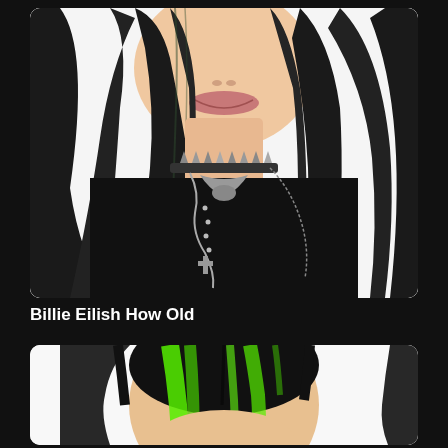[Figure (photo): Close-up photo of a person with long dark black hair, wearing a spiked choker necklace layered with ornate silver necklaces including a cross pendant, dressed in black clothing, on a white background.]
Billie Eilish How Old
[Figure (photo): Photo of a person with black and bright green (neon) hair, viewed from slightly above, on a white background, showing primarily the top of the head and face.]